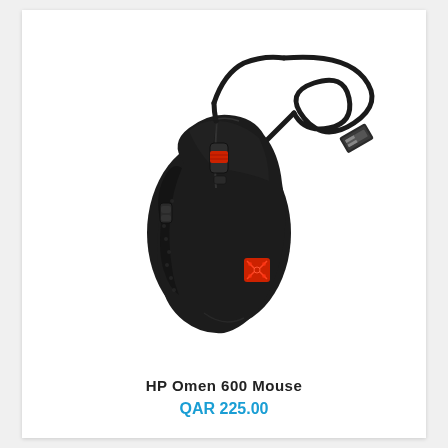[Figure (photo): HP Omen 600 gaming mouse, black with red scroll wheel accent and red OMEN logo on the body, with a coiled USB cable and USB Type-A connector visible, photographed on a white background from a slightly elevated angle.]
HP Omen 600 Mouse
QAR 225.00